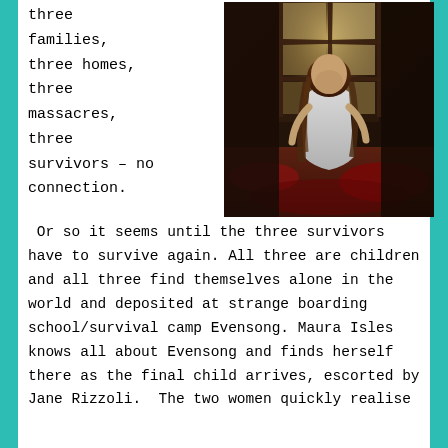three families, three homes, three massacres, three survivors – no connection.
[Figure (photo): A young girl with long brown hair wearing a white dress, standing in a dark, abandoned room with a large window behind her letting in some light. The floor appears to have red stains or red decorative elements.]
Or so it seems until the three survivors have to survive again. All three are children and all three find themselves alone in the world and deposited at strange boarding school/survival camp Evensong. Maura Isles knows all about Evensong and finds herself there as the final child arrives, escorted by Jane Rizzoli.  The two women quickly realise